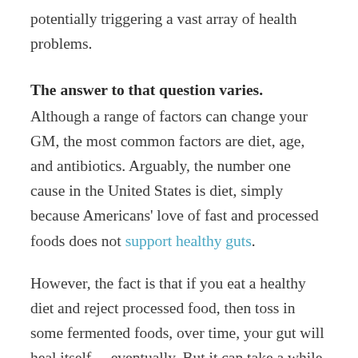potentially triggering a vast array of health problems.
The answer to that question varies.
Although a range of factors can change your GM, the most common factors are diet, age, and antibiotics. Arguably, the number one cause in the United States is diet, simply because Americans' love of fast and processed foods does not support healthy guts.
However, the fact is that if you eat a healthy diet and reject processed food, then toss in some fermented foods, over time, your gut will heal itself… eventually. But it can take a while, and it's pretty easy to fall off the healthy food wagon. Nevertheless, if you have the willpower, if you can strictly manage your diet, you will